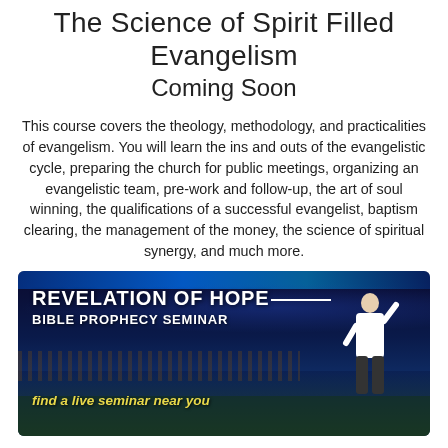The Science of Spirit Filled Evangelism
Coming Soon
This course covers the theology, methodology, and practicalities of evangelism. You will learn the ins and outs of the evangelistic cycle, preparing the church for public meetings, organizing an evangelistic team, pre-work and follow-up, the art of soul winning, the qualifications of a successful evangelist, baptism clearing, the management of the money, the science of spiritual synergy, and much more.
[Figure (photo): Banner image for 'Revelation of Hope Bible Prophecy Seminar' showing a speaker at a podium addressing a large crowd in a darkened arena with blue lighting streaks at top. Yellow italic text reads 'find a live seminar near you'.]